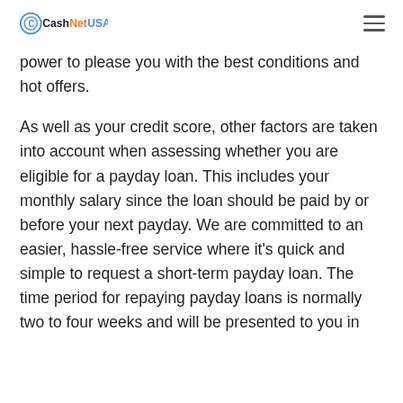CashNetUSA
power to please you with the best conditions and hot offers.
As well as your credit score, other factors are taken into account when assessing whether you are eligible for a payday loan. This includes your monthly salary since the loan should be paid by or before your next payday. We are committed to an easier, hassle-free service where it's quick and simple to request a short-term payday loan. The time period for repaying payday loans is normally two to four weeks and will be presented to you in the loan agreement. You should also be aware